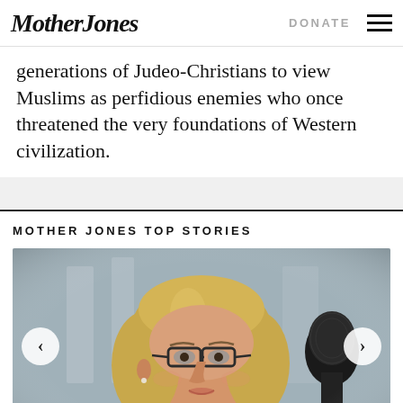Mother Jones | DONATE ☰
generations of Judeo-Christians to view Muslims as perfidious enemies who once threatened the very foundations of Western civilization.
MOTHER JONES TOP STORIES
[Figure (photo): Woman with glasses and blonde hair wearing a red jacket speaking at a microphone, with carousel navigation arrows on either side]